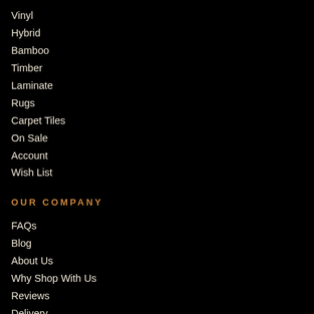Vinyl
Hybrid
Bamboo
Timber
Laminate
Rugs
Carpet Tiles
On Sale
Account
Wish List
OUR COMPANY
FAQs
Blog
About Us
Why Shop With Us
Reviews
Delivery
Layer Registration
Contact Us
Privacy Policy
Payment & Refund Policy